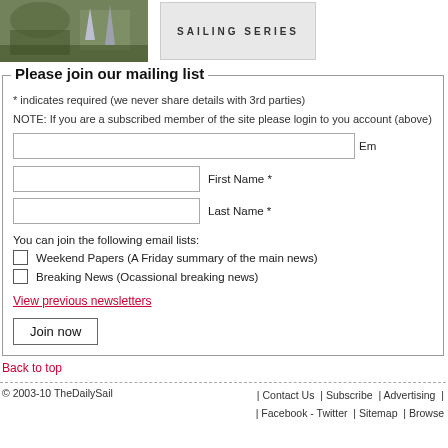[Figure (photo): Sailing boats photo in top left corner]
[Figure (illustration): Sailing Series logo/banner in grey box]
Please join our mailing list
* indicates required (we never share details with 3rd parties)
NOTE: If you are a subscribed member of the site please login to you account (above) for all your
Email field (truncated)
First Name *
Last Name *
You can join the following email lists:
Weekend Papers (A Friday summary of the main news)
Breaking News (Ocassional breaking news)
View previous newsletters
Join now
Back to top
© 2003-10 TheDailySail | Contact Us | Subscribe | Advertising | Facebook - Twitter | Sitemap | Browse